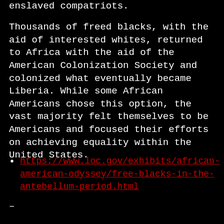enslaved compatriots.
Thousands of freed blacks, with the aid of interested whites, returned to Africa with the aid of the American Colonization Society and colonized what eventually became Liberia. While some African Americans chose this option, the vast majority felt themselves to be Americans and focused their efforts on achieving equality within the United States.
https://www.loc.gov/exhibits/african-american-odyssey/free-blacks-in-the-antebellum-period.html
–